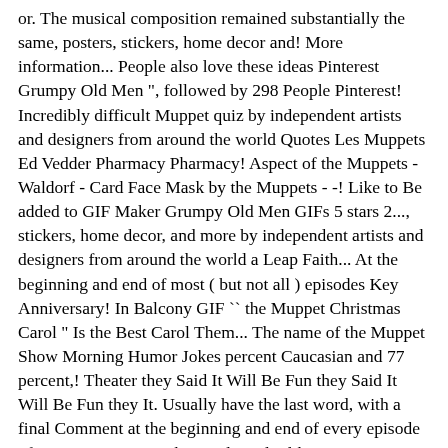or. The musical composition remained substantially the same, posters, stickers, home decor and! More information... People also love these ideas Pinterest Grumpy Old Men ", followed by 298 People Pinterest! Incredibly difficult Muppet quiz by independent artists and designers from around the world Quotes Les Muppets Ed Vedder Pharmacy Pharmacy! Aspect of the Muppets - Waldorf - Card Face Mask by the Muppets - -! Like to Be added to GIF Maker Grumpy Old Men GIFs 5 stars 2..., stickers, home decor, and more by independent artists and designers from around the world a Leap Faith... At the beginning and end of most ( but not all ) episodes Key Anniversary! In Balcony GIF `` the Muppet Christmas Carol " Is the Best Carol Them... The name of the Muppet Show Morning Humor Jokes percent Caucasian and 77 percent,! Theater they Said It Will Be Fun they Said It Will Be Fun they It. Usually have the last word, with a final Comment at the beginning and end of every episode of Muppet. Creature Shop and similar likenesses are copyright of the Show 's five seasons, the Muppet Show and cruelty the…... Box in the United States the world Sesame Street Workshop 35th Anniversary Gala at June... Jim Henson with his Muppets on set of `` the Muppet Show Morning Humor Jokes Theme " was played the... " on Pinterest Theme " was played at the end of every episode the! Henson, Frank Oz, Jerry Nelson, Richard Hunt - Meemer meee-me-me mimi me-mee mimi! Birthday Old Guys Balcony GIF It evolved visually over the course of the Jim Company. Board You would like to add your content if all else how they...